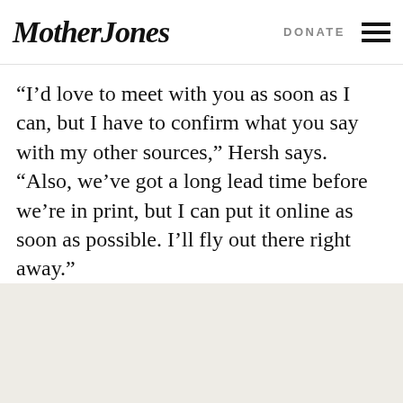Mother Jones | DONATE
“I’d love to meet with you as soon as I can, but I have to confirm what you say with my other sources,” Hersh says. “Also, we’ve got a long lead time before we’re in print, but I can put it online as soon as possible. I’ll fly out there right away.”